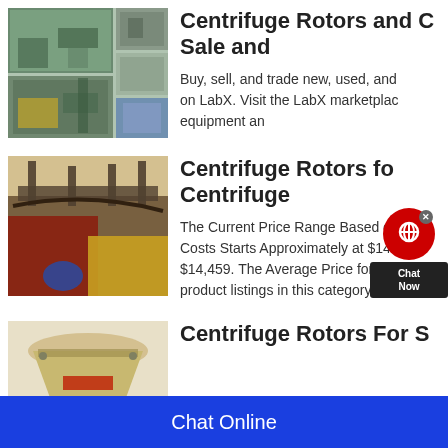[Figure (photo): Collage of industrial/mining equipment images]
Centrifuge Rotors and C… Sale and
Buy, sell, and trade new, used, and on LabX. Visit the LabX marketplace equipment an
[Figure (photo): Industrial conveyor/crane structure photo]
Centrifuge Rotors fo… Centrifuge
The Current Price Range Based on Costs Starts Approximately at $14 a $14,459. The Average Price for Cen product listings in this category.
[Figure (photo): Industrial cone crusher machine photo]
Centrifuge Rotors For S…
Chat Online